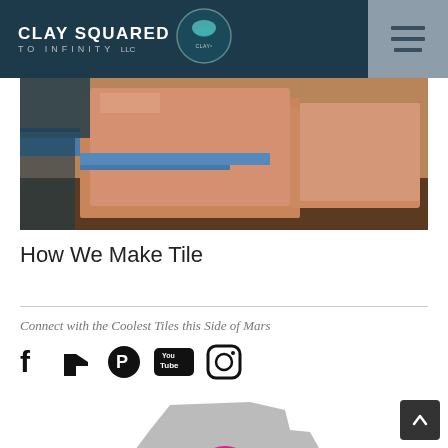CLAY SQUARED TO INFINITY LLC
[Figure (photo): Close-up photo of ceramic/clay tiles being made, showing terracotta clay slabs with blue glaze stripes on a wooden surface]
How We Make Tile
Connect with the Coolest Tiles this Side of Mars
[Figure (illustration): Row of social media icons: Facebook, Houzz, Pinterest, YouTube, Instagram - all in black]
[Figure (logo): Minnesota state outline in gray with a pink/orange rainbow arc design inside, partially visible at bottom of page]